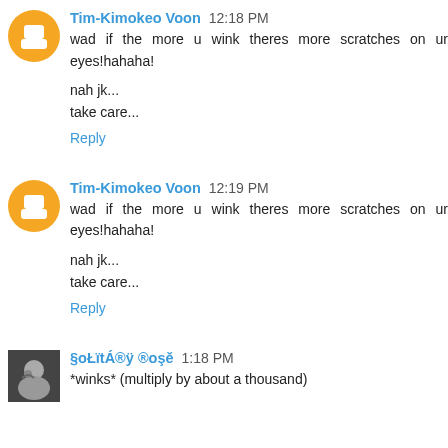Tim-Kimokeo Voon 12:18 PM
wad if the more u wink theres more scratches on ur eyes!hahaha!

nah jk...
take care...
Reply
Tim-Kimokeo Voon 12:19 PM
wad if the more u wink theres more scratches on ur eyes!hahaha!

nah jk...
take care...
Reply
§oŁïtÁ®ÿ ®oşě 1:18 PM
*winks* (multiply by about a thousand)